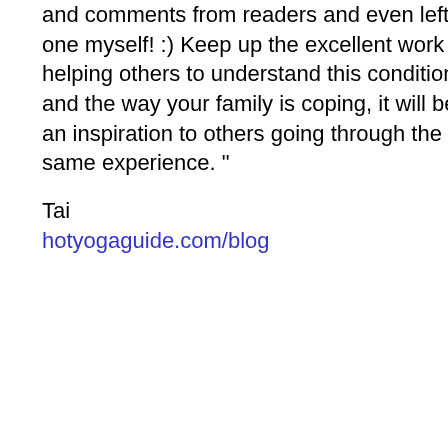and comments from readers and even left one myself! :) Keep up the excellent work on helping others to understand this condition and the way your family is coping, it will be an inspiration to others going through the same experience. "

Tai
hotyogaguide.com/blog
"I truly found your site to be excellent and beautiful. It speaks a lot to your character. As an individual in the health field, I have been in contact with a few patients with ASD and they are very special individuals. I wanted to thank you for taking the time to let the